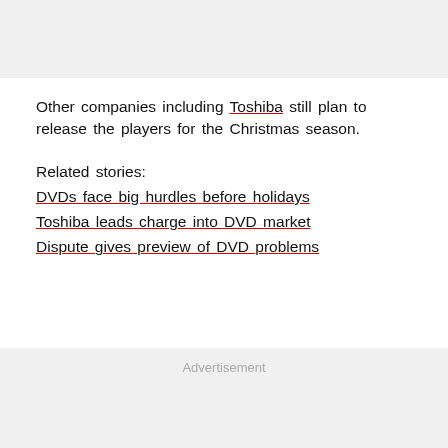Other companies including Toshiba still plan to release the players for the Christmas season.
Related stories:
DVDs face big hurdles before holidays
Toshiba leads charge into DVD market
Dispute gives preview of DVD problems
Advertisement